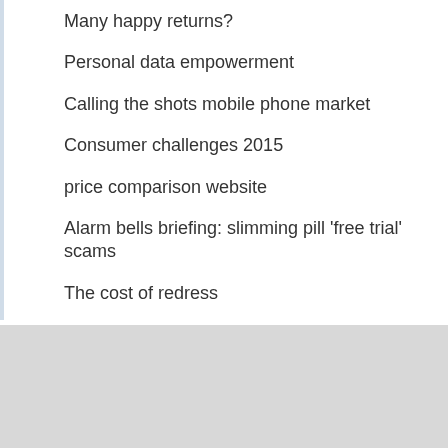Many happy returns?
Personal data empowerment
Calling the shots mobile phone market
Consumer challenges 2015
price comparison website
Alarm bells briefing: slimming pill 'free trial' scams
The cost of redress
The experiences of small businesses as
We use cookies to improve your experience of our website. You can find out more or opt-out from some cookies.
I'm fine with cookies